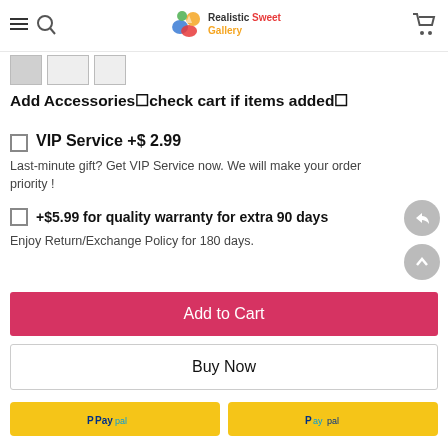Realistic Sweet Gallery - Navigation Header
Add Accessories check cart if items added
VIP Service +$ 2.99
Last-minute gift? Get VIP Service now. We will make your order priority !
+$5.99 for quality warranty for extra 90 days
Enjoy Return/Exchange Policy for 180 days.
Add to Cart
Buy Now